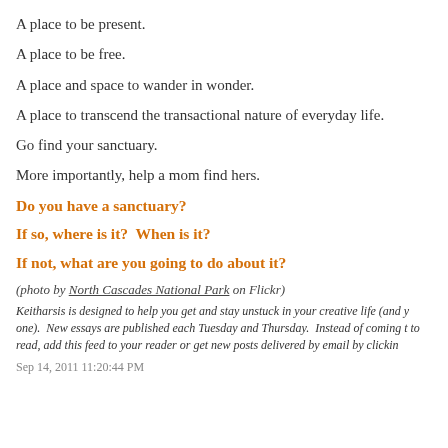A place to be present.
A place to be free.
A place and space to wander in wonder.
A place to transcend the transactional nature of everyday life.
Go find your sanctuary.
More importantly, help a mom find hers.
Do you have a sanctuary?
If so, where is it?  When is it?
If not, what are you going to do about it?
(photo by North Cascades National Park on Flickr)
Keitharsis is designed to help you get and stay unstuck in your creative life (and y one).  New essays are published each Tuesday and Thursday.  Instead of coming t to read, add this feed to your reader or get new posts delivered by email by clickin
Sep 14, 2011 11:20:44 PM